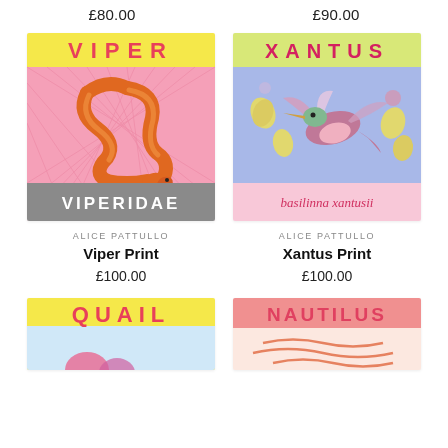£80.00
£90.00
[Figure (illustration): Viper Print artwork: colorful illustrated print with orange coiled viper snake on pink crosshatch background, yellow top band with 'VIPER' text in pink, grey bottom band with 'VIPERIDAE' text in white]
[Figure (illustration): Xantus Print artwork: colorful illustrated print with hummingbird on lavender/blue background with yellow flowers, yellow top band with 'XANTUS' text in pink, pink bottom band with 'basilinna xantusii' cursive text]
ALICE PATTULLO
Viper Print
£100.00
ALICE PATTULLO
Xantus Print
£100.00
[Figure (illustration): Quail Print artwork: colorful illustrated print with yellow top band with 'QUAIL' letters in pink/blue, partial view of artwork below]
[Figure (illustration): Nautilus Print artwork: colorful illustrated print with salmon/coral band with 'NAUTILUS' letters, partial view of artwork below]